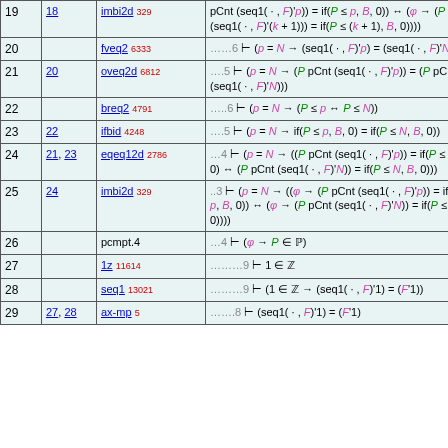| # | Hyp | Rule | Formula |
| --- | --- | --- | --- |
| 19 | 18 | imbi2d 329 | pCnt (seq1( · , F)'p)) = if(P ≤ p, B, 0)) ↔ (φ → (P pCnt (seq1( · , F)'(k + 1))) = if(P ≤ (k + 1), B, 0)))) |
| 20 |  | fveq2 6333 | ……6 ⊢ (p = N → (seq1( · , F)'p) = (seq1( · , F)'N)) |
| 21 | 20 | oveq2d 6812 | ….5 ⊢ (p = N → (P pCnt (seq1( · , F)'p)) = (P pCnt (seq1( · , F)'N))) |
| 22 |  | breq2 4791 | …..6 ⊢ (p = N → (P ≤ p ↔ P ≤ N)) |
| 23 | 22 | ifbid 4248 | ….5 ⊢ (p = N → if(P ≤ p, B, 0) = if(P ≤ N, B, 0)) |
| 24 | 21, 23 | eqeq12d 2786 | ….4 ⊢ (p = N → ((P pCnt (seq1( · , F)'p)) = if(P ≤ p, B, 0) ↔ (P pCnt (seq1( · , F)'N)) = if(P ≤ N, B, 0))) |
| 25 | 24 | imbi2d 329 | ..3 ⊢ (p = N → ((φ → (P pCnt (seq1( · , F)'p)) = if(P ≤ p, B, 0)) ↔ (φ → (P pCnt (seq1( · , F)'N)) = if(P ≤ N, B, 0)))) |
| 26 |  | pcmpt.4 | ….4 ⊢ (φ → P ∈ ℙ) |
| 27 |  | 1z 11614 | ………9 ⊢ 1 ∈ ℤ |
| 28 |  | seq1 13021 | ………9 ⊢ (1 ∈ ℤ → (seq1( · , F)'1) = (F'1)) |
| 29 | 27, 28 | ax-mp 5 | …….8 ⊢ (seq1( · , F)'1) = (F'1) |